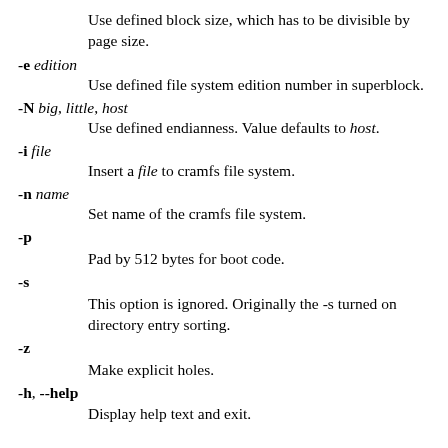Use defined block size, which has to be divisible by page size.
-e edition
    Use defined file system edition number in superblock.
-N big, little, host
    Use defined endianness. Value defaults to host.
-i file
    Insert a file to cramfs file system.
-n name
    Set name of the cramfs file system.
-p
    Pad by 512 bytes for boot code.
-s
    This option is ignored. Originally the -s turned on directory entry sorting.
-z
    Make explicit holes.
-h, --help
    Display help text and exit.